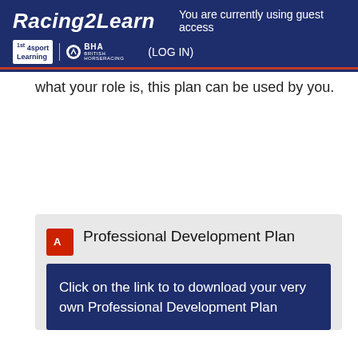Racing2Learn | You are currently using guest access | (LOG IN)
what your role is, this plan can be used by you.
[Figure (screenshot): PDF icon (red square with white A symbol) next to 'Professional Development Plan' title, followed by a dark blue box with text: Click on the link to to download your very own Professional Development Plan]